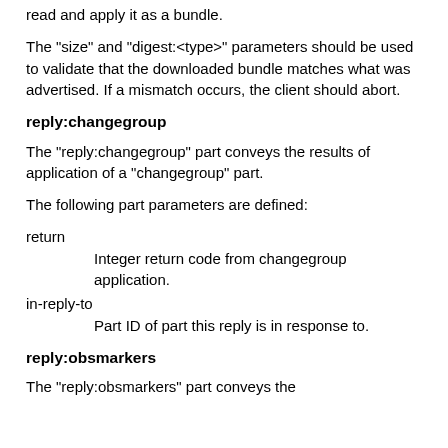read and apply it as a bundle.
The "size" and "digest:<type>" parameters should be used to validate that the downloaded bundle matches what was advertised. If a mismatch occurs, the client should abort.
reply:changegroup
The "reply:changegroup" part conveys the results of application of a "changegroup" part.
The following part parameters are defined:
return
    Integer return code from changegroup application.
in-reply-to
    Part ID of part this reply is in response to.
reply:obsmarkers
The "reply:obsmarkers" part conveys the